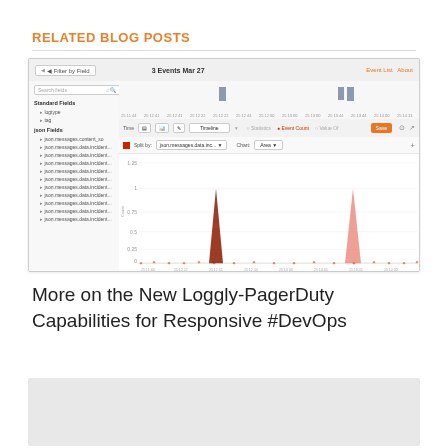RELATED BLOG POSTS
[Figure (screenshot): Screenshot of Loggly log analysis dashboard showing '3 Events Mar 27' with a filter-by-field sidebar on the left listing Standard Fields (logtype, tag) and JSON Fields (json.messages.content_so, json.messages.data.incident...) and a main chart area displaying an area chart with two red spikes over a timeline]
More on the New Loggly-PagerDuty Capabilities for Responsive #DevOps
[Figure (photo): Partial gray image/photo at the bottom of the page]